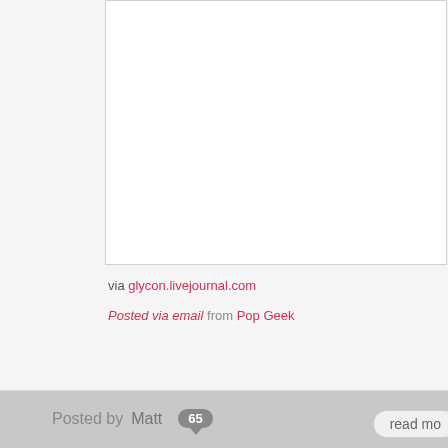[Figure (screenshot): White content box with border, partially visible, showing blog post content area]
via glycon.livejournal.com
Posted via email from Pop Geek
Posted by Matt  65  read mo...
Happy birthday, Patrick